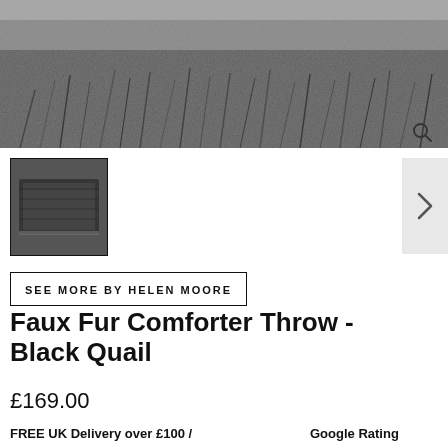[Figure (photo): Close-up cropped image of dark grey/black faux fur texture at the top of the product page]
[Figure (photo): Small thumbnail image of the Faux Fur Comforter Throw in Black Quail, shown folded, inside a bordered thumbnail box]
SEE MORE BY HELEN MOORE
Faux Fur Comforter Throw - Black Quail
£169.00
FREE UK Delivery over £100 /
Google Rating